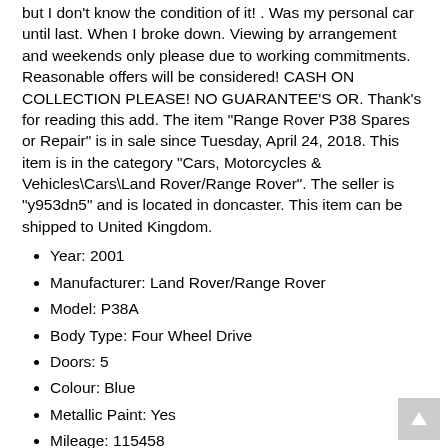but I don't know the condition of it! . Was my personal car until last. When I broke down. Viewing by arrangement and weekends only please due to working commitments. Reasonable offers will be considered! CASH ON COLLECTION PLEASE! NO GUARANTEE'S OR. Thank's for reading this add. The item "Range Rover P38 Spares or Repair" is in sale since Tuesday, April 24, 2018. This item is in the category "Cars, Motorcycles & Vehicles\Cars\Land Rover/Range Rover". The seller is "y953dn5" and is located in doncaster. This item can be shipped to United Kingdom.
Year: 2001
Manufacturer: Land Rover/Range Rover
Model: P38A
Body Type: Four Wheel Drive
Doors: 5
Colour: Blue
Metallic Paint: Yes
Mileage: 115458